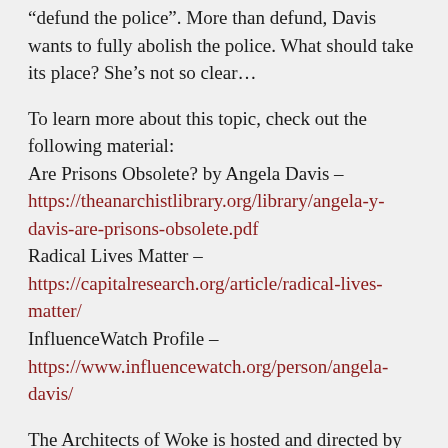“defund the police”. More than defund, Davis wants to fully abolish the police. What should take its place? She’s not so clear…
To learn more about this topic, check out the following material:
Are Prisons Obsolete? by Angela Davis – https://theanarchistlibrary.org/library/angela-y-davis-are-prisons-obsolete.pdf
Radical Lives Matter – https://capitalresearch.org/article/radical-lives-matter/
InfluenceWatch Profile – https://www.influencewatch.org/person/angela-davis/
The Architects of Woke is hosted and directed by filmmaker Rob Montz. Montz is the co-founder and CEO of Good Kid Productions. His online